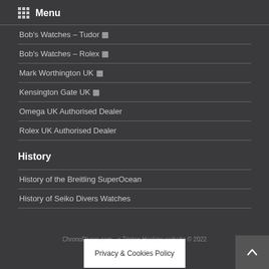Menu
Bob's Watches – Tudor 🔗
Bob's Watches – Rolex 🔗
Mark Worthington UK 🔗
Kensington Gate UK 🔗
Omega UK Authorised Dealer
Rolex UK Authorised Dealer
History
History of the Breitling SuperOcean
History of Seiko Divers Watches
ChronoDivers.com - a Tristan Haskins website © 2022
Privacy & Cookies Policy